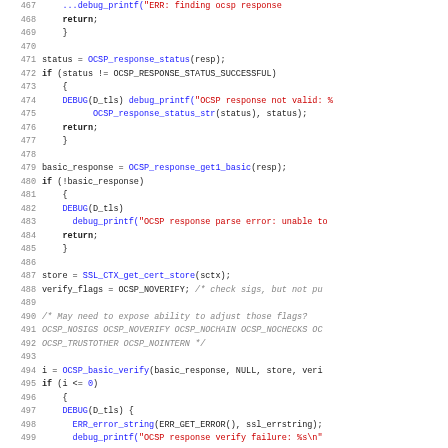[Figure (screenshot): Source code listing in C, lines 467-499, showing OCSP response validation logic with syntax highlighting: line numbers in gray, keywords in black bold, function names in blue, string literals in red, comments in gray italic.]